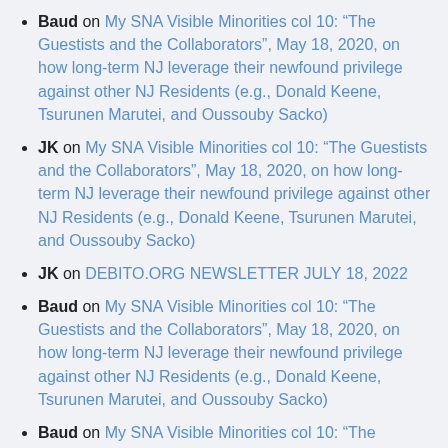Baud on My SNA Visible Minorities col 10: “The Guestists and the Collaborators”, May 18, 2020, on how long-term NJ leverage their newfound privilege against other NJ Residents (e.g., Donald Keene, Tsurunen Marutei, and Oussouby Sacko)
JK on My SNA Visible Minorities col 10: “The Guestists and the Collaborators”, May 18, 2020, on how long-term NJ leverage their newfound privilege against other NJ Residents (e.g., Donald Keene, Tsurunen Marutei, and Oussouby Sacko)
JK on DEBITO.ORG NEWSLETTER JULY 18, 2022
Baud on My SNA Visible Minorities col 10: “The Guestists and the Collaborators”, May 18, 2020, on how long-term NJ leverage their newfound privilege against other NJ Residents (e.g., Donald Keene, Tsurunen Marutei, and Oussouby Sacko)
Baud on My SNA Visible Minorities col 10: “The Guestists and the Collaborators”, May 18, 2020, on how long-term NJ leverage their newfound privilege against other NJ Residents (e.g., Donald Keene, Tsurunen Marutei, and Oussouby Sacko)